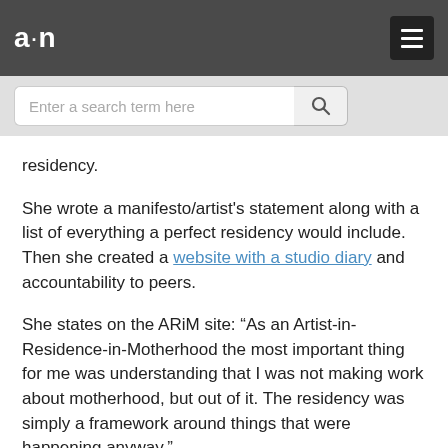a·n [logo] [hamburger menu]
[Figure (screenshot): Search bar with placeholder text 'Enter a search term here' and a search button with magnifying glass icon]
residency.
She wrote a manifesto/artist's statement along with a list of everything a perfect residency would include. Then she created a website with a studio diary and accountability to peers.
She states on the ARiM site: “As an Artist-in-Residence-in-Motherhood the most important thing for me was understanding that I was not making work about motherhood, but out of it. The residency was simply a framework around things that were happening anyway.”
As the residency evolved she received correspondence from women in similar situations wanting to start their own residencies. As a result, she established a dedicated ARiM website – open to all mothers; there is no screening or application process – that includes a free,